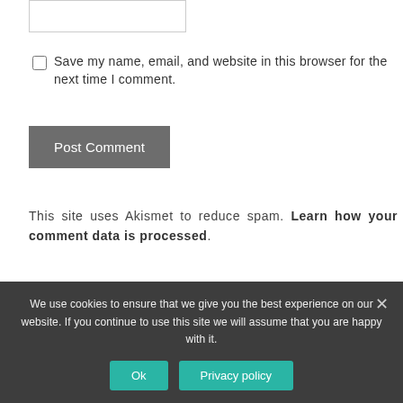[input box]
Save my name, email, and website in this browser for the next time I comment.
Post Comment
This site uses Akismet to reduce spam. Learn how your comment data is processed.
[Figure (screenshot): Video thumbnail showing '4th Future-IoT Ph.D. school "Io...' with a person avatar and dark tech background]
We use cookies to ensure that we give you the best experience on our website. If you continue to use this site we will assume that you are happy with it.
Ok
Privacy policy